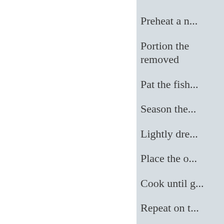Preheat a n...
Portion the ... removed
Pat the fish...
Season the...
Lightly dre...
Place the o...
Cook until g...
Repeat on t...
Remove fro...